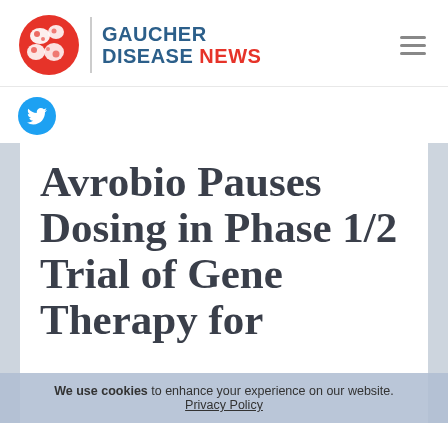[Figure (logo): Gaucher Disease News logo with circular cell illustration and site name]
[Figure (logo): Twitter/X social media icon button in blue circle]
Avrobio Pauses Dosing in Phase 1/2 Trial of Gene Therapy for
We use cookies to enhance your experience on our website. Privacy Policy